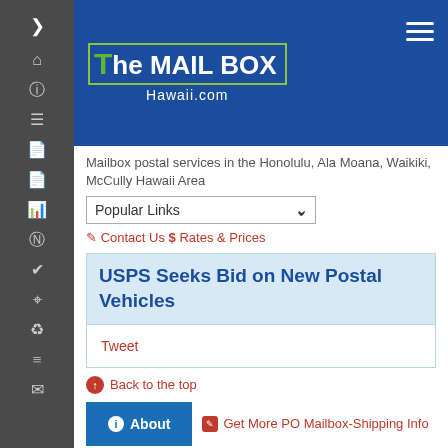The MAIL BOX Hawaii.com
Mailbox postal services in the Honolulu, Ala Moana, Waikiki, McCully Hawaii Area
Popular Links
Contact Us $ Rates & Prices
USPS Seeks Bid on New Postal Vehicles
Tweet
Back to the top
About
Get More PO Mailbox-Shipping Info
[Figure (screenshot): Thumbnail image showing USPS postal vehicles with overlay text 'USPS Seeks Bid on New Postal Vehicles']
USPS Seeks Bid on New Postal Vehicles
The United States Postal...